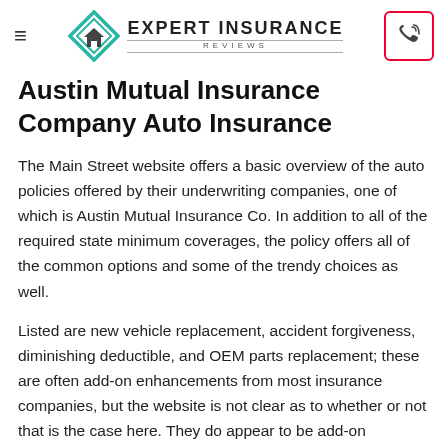Expert Insurance Reviews
Austin Mutual Insurance Company Auto Insurance
The Main Street website offers a basic overview of the auto policies offered by their underwriting companies, one of which is Austin Mutual Insurance Co. In addition to all of the required state minimum coverages, the policy offers all of the common options and some of the trendy choices as well.
Listed are new vehicle replacement, accident forgiveness, diminishing deductible, and OEM parts replacement; these are often add-on enhancements from most insurance companies, but the website is not clear as to whether or not that is the case here. They do appear to be add-on coverage options that likely have an additional premium